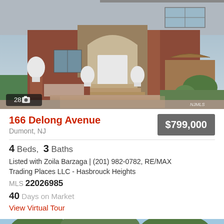[Figure (photo): Exterior photo of 166 Delong Avenue, a brick colonial-style house with ornamental gate posts, arched white front door, brick paver driveway, and landscaped grounds. Photo counter shows 28 images.]
166 Delong Avenue
Dumont, NJ
$799,000
4 Beds,  3 Baths
Listed with Zoila Barzaga | (201) 982-0782, RE/MAX Trading Places LLC - Hasbrouck Heights
MLS 22026985
40 Days on Market
View Virtual Tour
[Figure (photo): Partial view of another property listing photo at the bottom of the page, showing green foliage and sky.]